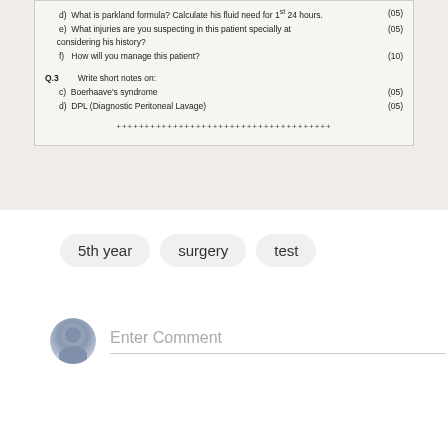[Figure (photo): Partial photograph of a medical surgery exam paper showing questions about parkland formula, fluid needs, injuries, patient management, Boerhaave's syndrome, and DPL (Diagnostic Peritoneal Lavage) with marks allocations]
5th year
surgery
test
Enter Comment